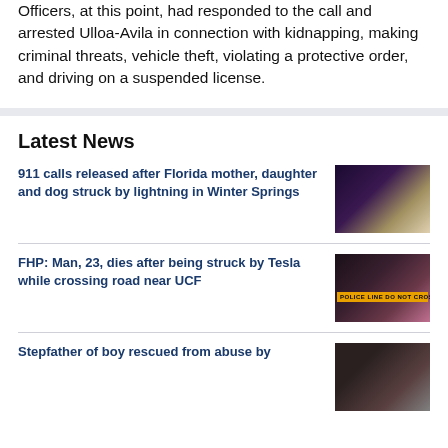Officers, at this point, had responded to the call and arrested Ulloa-Avila in connection with kidnapping, making criminal threats, vehicle theft, violating a protective order, and driving on a suspended license.
Latest News
911 calls released after Florida mother, daughter and dog struck by lightning in Winter Springs
[Figure (photo): Photo of family group with dog]
FHP: Man, 23, dies after being struck by Tesla while crossing road near UCF
[Figure (photo): Police lights at night with police tape reading POLICE LINE DO NOT CROSS]
Stepfather of boy rescued from abuse by